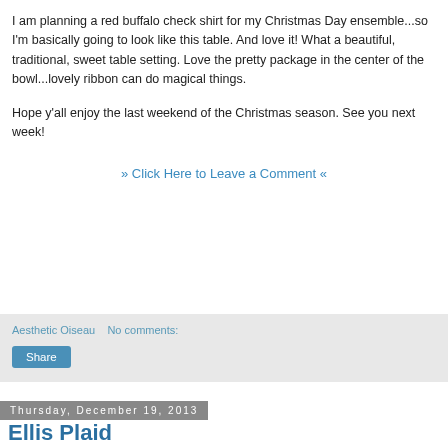I am planning a red buffalo check shirt for my Christmas Day ensemble...so I'm basically going to look like this table. And love it! What a beautiful, traditional, sweet table setting. Love the pretty package in the center of the bowl...lovely ribbon can do magical things.
Hope y'all enjoy the last weekend of the Christmas season. See you next week!
» Click Here to Leave a Comment «
Aesthetic Oiseau    No comments:
Share
Thursday, December 19, 2013
Ellis Plaid